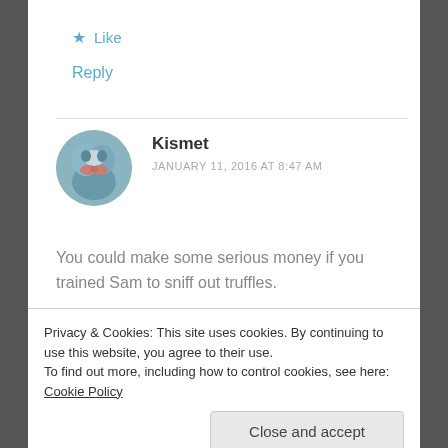★ Like
Reply
Kismet
JANUARY 11, 2016 AT 8:47 AM
You could make some serious money if you trained Sam to sniff out truffles.
★ Liked by 1 person
Privacy & Cookies: This site uses cookies. By continuing to use this website, you agree to their use.
To find out more, including how to control cookies, see here: Cookie Policy
Close and accept